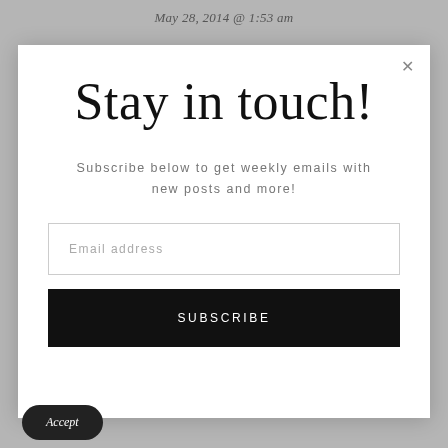May 28, 2014 @ 1:53 am
Stay in touch!
Subscribe below to get weekly emails with new posts and more!
Email address
SUBSCRIBE
Accept